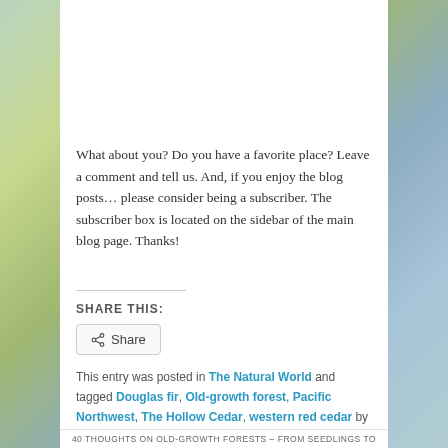What about you? Do you have a favorite place? Leave a comment and tell us. And, if you enjoy the blog posts… please consider being a subscriber. The subscriber box is located on the sidebar of the main blog page. Thanks!
SHARE THIS:
This entry was posted in The Natural World and tagged Douglas fir, Old-growth forest, Pacific Northwest, The Hollow Cedar, western red cedar by dahndesign. Bookmark the permalink.
40 THOUGHTS ON OLD-GROWTH FORESTS – FROM SEEDLINGS TO...